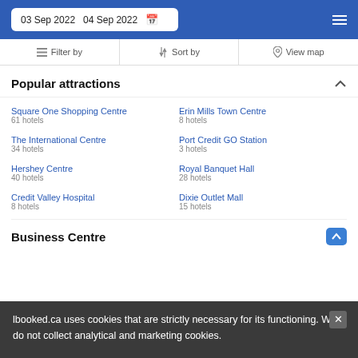03 Sep 2022   04 Sep 2022
Filter by   Sort by   View map
Popular attractions
Square One Shopping Centre
61 hotels
Erin Mills Town Centre
8 hotels
The International Centre
34 hotels
Port Credit GO Station
3 hotels
Hershey Centre
40 hotels
Royal Banquet Hall
28 hotels
Credit Valley Hospital
8 hotels
Dixie Outlet Mall
15 hotels
Business Centre
lbooked.ca uses cookies that are strictly necessary for its functioning. We do not collect analytical and marketing cookies.